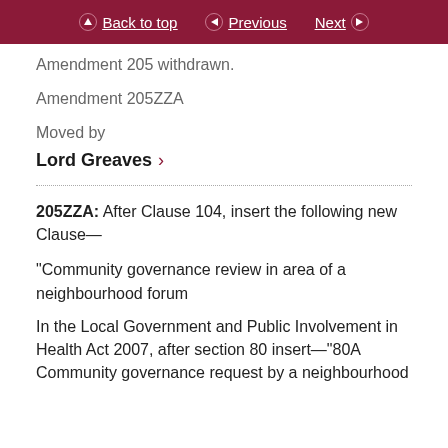Back to top  Previous  Next
Amendment 205 withdrawn.
Amendment 205ZZA
Moved by
Lord Greaves
205ZZA: After Clause 104, insert the following new Clause—
“Community governance review in area of a neighbourhood forum
In the Local Government and Public Involvement in Health Act 2007, after section 80 insert—“80A Community governance request by a neighbourhood